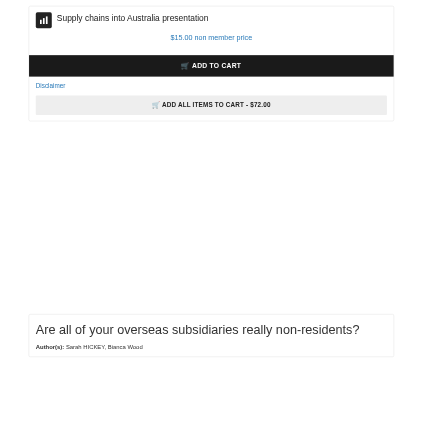Supply chains into Australia presentation
$15.00 non member price
ADD TO CART
Disclaimer
ADD ALL ITEMS TO CART - $72.00
Are all of your overseas subsidiaries really non-residents?
Author(s): Sarah HICKEY, Bianca Wood